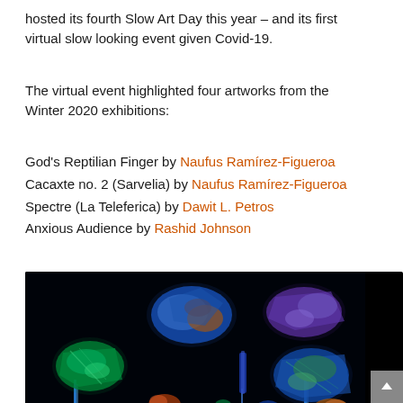hosted its fourth Slow Art Day this year – and its first virtual slow looking event given Covid-19.
The virtual event highlighted four artworks from the Winter 2020 exhibitions:
God's Reptilian Finger by Naufus Ramírez-Figueroa
Cacaxte no. 2 (Sarvelia) by Naufus Ramírez-Figueroa
Spectre (La Teleferica) by Dawit L. Petros
Anxious Audience by Rashid Johnson
[Figure (photo): A dark room installation showing glowing mineral or rock sculptures illuminated with UV/fluorescent lighting against a black background. Rocks glow in vivid colors: blue, green, orange, purple. Thin neon blue vertical rods are visible on the floor.]